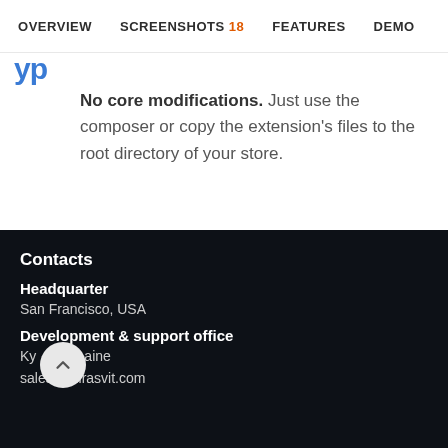OVERVIEW   SCREENSHOTS 18   FEATURES   DEMO
yp
No core modifications. Just use the composer or copy the extension's files to the root directory of your store.
Contacts
Headquarter
San Francisco, USA
Development & support office
Kyiv, Ukraine
sales@mirasvit.com